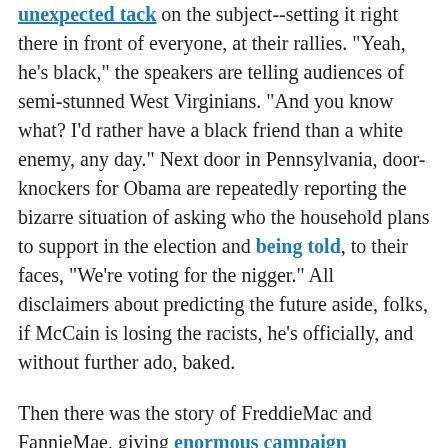unexpected tack on the subject--setting it right there in front of everyone, at their rallies. "Yeah, he's black," the speakers are telling audiences of semi-stunned West Virginians. "And you know what? I'd rather have a black friend than a white enemy, any day." Next door in Pennsylvania, door-knockers for Obama are repeatedly reporting the bizarre situation of asking who the household plans to support in the election and being told, to their faces, "We're voting for the nigger." All disclaimers about predicting the future aside, folks, if McCain is losing the racists, he's officially, and without further ado, baked.
Then there was the story of FreddieMac and FannieMae, giving enormous campaign contributions to the RNC in an attempt to kill the legislation whose passage would eventually form the first major step in trying to lead us out of the housing mess. McCain caught a break in that this story dropped when everyone was paying attention to something else--but for the small problem that the something else was the Powell endorsement.
Many pundits have said that endorsements never make